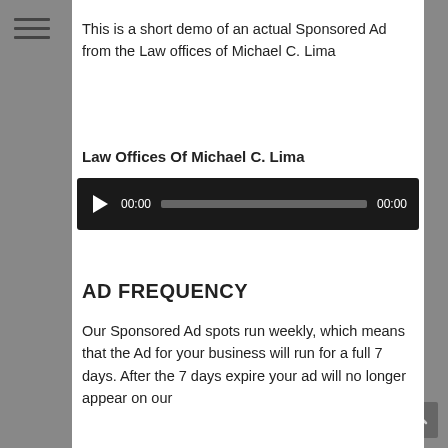[Figure (other): Hamburger menu icon (three horizontal lines) in left sidebar]
This is a short demo of an actual Sponsored Ad from the Law offices of Michael C. Lima
Law Offices Of Michael C. Lima
[Figure (other): Audio player with play button, time display 00:00, progress bar, and end time 00:00]
AD FREQUENCY
Our Sponsored Ad spots run weekly, which means that the Ad for your business will run for a full 7 days. After the 7 days expire your ad will no longer appear on our